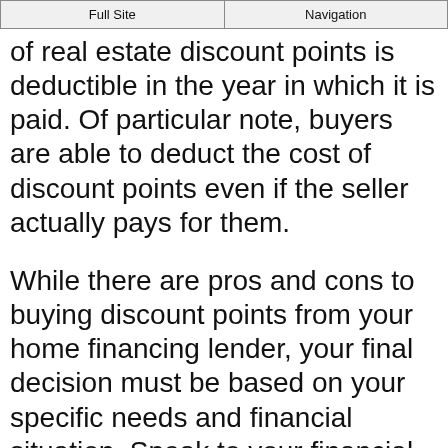Full Site | Navigation
of real estate discount points is deductible in the year in which it is paid. Of particular note, buyers are able to deduct the cost of discount points even if the seller actually pays for them.
While there are pros and cons to buying discount points from your home financing lender, your final decision must be based on your specific needs and financial situation. Speak to your financial advisor or lending institution to decide on the best course of action to ensure you can pay off your loan in the best possible way.